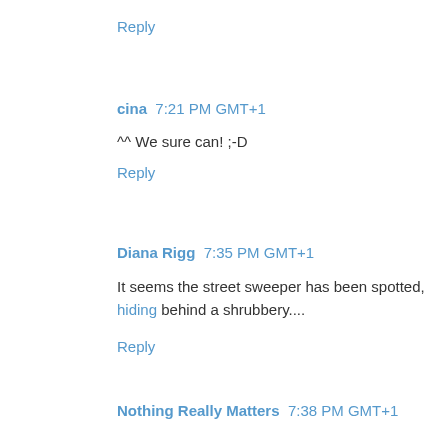Reply
cina 7:21 PM GMT+1
^^ We sure can! ;-D
Reply
Diana Rigg 7:35 PM GMT+1
It seems the street sweeper has been spotted, hiding behind a shrubbery....
Reply
Nothing Really Matters 7:38 PM GMT+1
Brits this is so funny! What a great post!
Reply